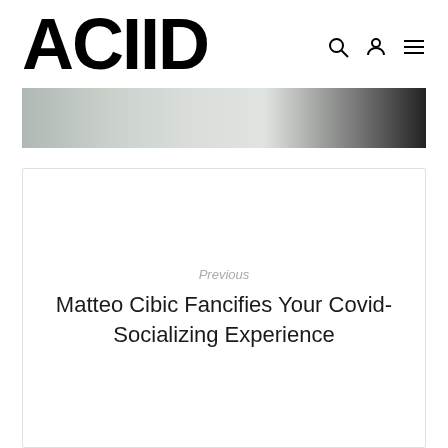ACIIID
[Figure (photo): Partial hero image showing an interior scene, cropped at top]
Previous
Matteo Cibic Fancifies Your Covid-Socializing Experience